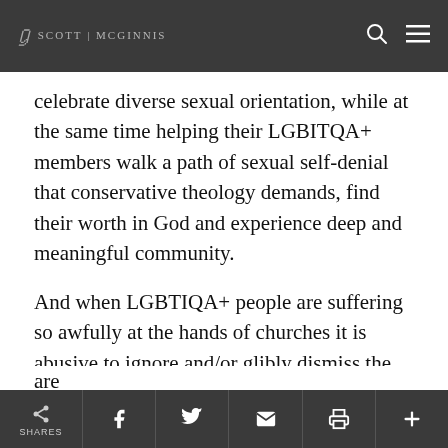SCOTT | McGINNIS
celebrate diverse sexual orientation, while at the same time helping their LGBITQA+ members walk a path of sexual self-denial that conservative theology demands, find their worth in God and experience deep and meaningful community.
And when LGBTIQA+ people are suffering so awfully at the hands of churches it is abusive to ignore and/or glibly dismiss the challenge to conservative readings of Scripture that are
SHARES [share icons: Facebook, Twitter, Email, Print, Plus]